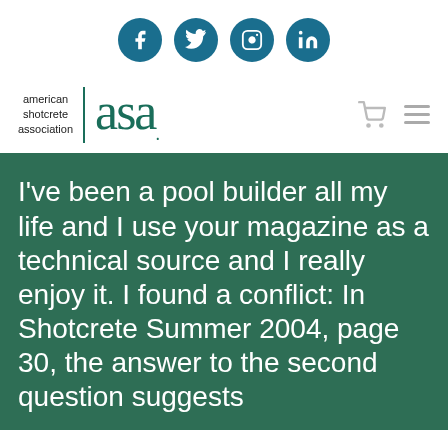[Figure (logo): Social media icons row: Facebook, Twitter, Instagram, LinkedIn — teal/dark blue circles with white icons]
[Figure (logo): American Shotcrete Association logo: small text 'american shotcrete association' with vertical bar and large teal 'asa.' wordmark, cart and hamburger menu icons on the right]
I've been a pool builder all my life and I use your magazine as a technical source and I really enjoy it. I found a conflict: In Shotcrete Summer 2004, page 30, the answer to the second question suggests